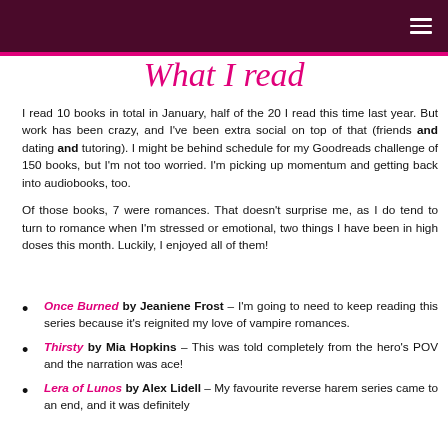What I read
I read 10 books in total in January, half of the 20 I read this time last year. But work has been crazy, and I've been extra social on top of that (friends and dating and tutoring). I might be behind schedule for my Goodreads challenge of 150 books, but I'm not too worried. I'm picking up momentum and getting back into audiobooks, too.
Of those books, 7 were romances. That doesn't surprise me, as I do tend to turn to romance when I'm stressed or emotional, two things I have been in high doses this month. Luckily, I enjoyed all of them!
Once Burned by Jeaniene Frost – I'm going to need to keep reading this series because it's reignited my love of vampire romances.
Thirsty by Mia Hopkins – This was told completely from the hero's POV and the narration was ace!
Lera of Lunos by Alex Lidell – My favourite reverse harem series came to an end, and it was definitely